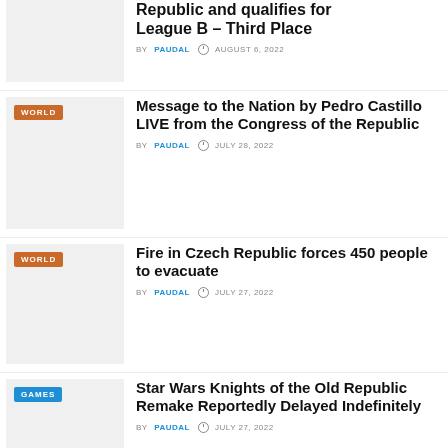[Figure (photo): Thumbnail image placeholder for article about League B Third Place]
Republic and qualifies for League B – Third Place
BY PAUDAL  AUGUST 6, 2022
[Figure (photo): Thumbnail image placeholder with WORLD tag]
Message to the Nation by Pedro Castillo LIVE from the Congress of the Republic
BY PAUDAL  JULY 28, 2022
[Figure (photo): Thumbnail image placeholder with WORLD tag]
Fire in Czech Republic forces 450 people to evacuate
BY PAUDAL  JULY 27, 2022
[Figure (photo): Thumbnail image placeholder with GAMES tag]
Star Wars Knights of the Old Republic Remake Reportedly Delayed Indefinitely
BY PAUDAL  JULY 27, 2022